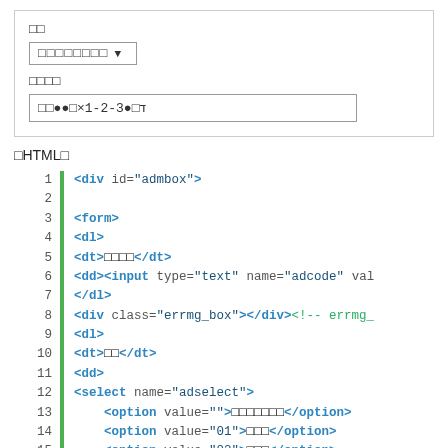[Figure (screenshot): Preview box showing a dropdown selector with placeholder text and an input field displaying sample text with special characters and '1-2-3']
ⅡHTMLⅡ
Code listing lines 1-18 showing HTML markup with div, form, dl, dt, dd, input, select and option tags